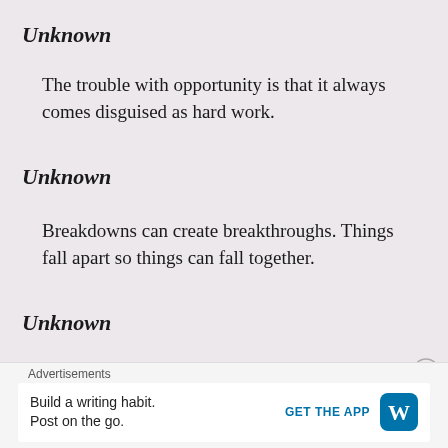Unknown
The trouble with opportunity is that it always comes disguised as hard work.
Unknown
Breakdowns can create breakthroughs. Things fall apart so things can fall together.
Unknown
Even the greatest was once a beginner, don't be afraid to take that first step.
Advertisements — Build a writing habit. Post on the go. GET THE APP